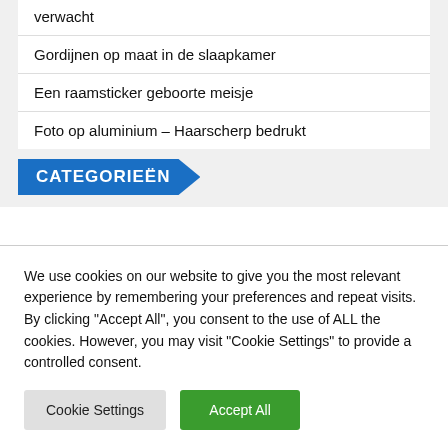verwacht
Gordijnen op maat in de slaapkamer
Een raamsticker geboorte meisje
Foto op aluminium – Haarscherp bedrukt
CATEGORIEËN
We use cookies on our website to give you the most relevant experience by remembering your preferences and repeat visits. By clicking "Accept All", you consent to the use of ALL the cookies. However, you may visit "Cookie Settings" to provide a controlled consent.
Cookie Settings
Accept All